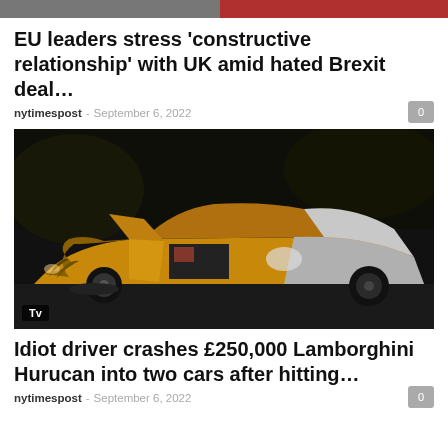[Figure (photo): Top strip showing partial images of people]
EU leaders stress ‘constructive relationship’ with UK amid hated Brexit deal…
nytimespost - September 6, 2022
[Figure (photo): Damaged yellow and white Lamborghini Hurucan at night with doors open and front end smashed, labeled Tv]
Idiot driver crashes £250,000 Lamborghini Hurucan into two cars after hitting…
nytimespost - September 6, 2022